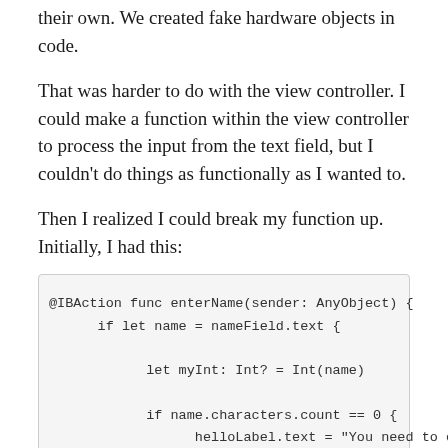their own. We created fake hardware objects in code.
That was harder to do with the view controller. I could make a function within the view controller to process the input from the text field, but I couldn't do things as functionally as I wanted to.
Then I realized I could break my function up. Initially, I had this:
@IBAction func enterName(sender: AnyObject) {
      if let name = nameField.text {

            let myInt: Int? = Int(name)

            if name.characters.count == 0 {
                  helloLabel.text = "You need to enter
            } else if myInt != nil {